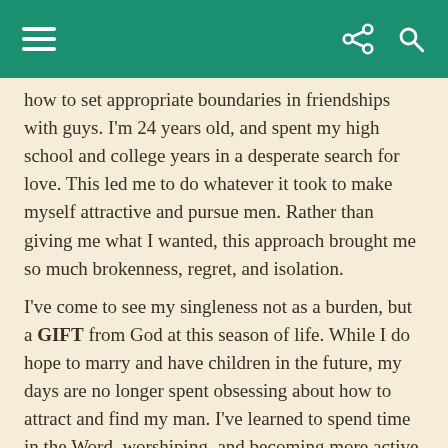how to set appropriate boundaries in friendships with guys. I'm 24 years old, and spent my high school and college years in a desperate search for love. This led me to do whatever it took to make myself attractive and pursue men. Rather than giving me what I wanted, this approach brought me so much brokenness, regret, and isolation.
I've come to see my singleness not as a burden, but a GIFT from God at this season of life. While I do hope to marry and have children in the future, my days are no longer spent obsessing about how to attract and find my man. I've learned to spend time in the Word, worshiping, and becoming more active at church. Instead of spending last summer chasing guys, I spent it volunteering at VBS, helping